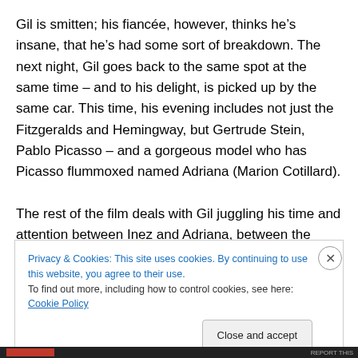Gil is smitten; his fiancée, however, thinks he's insane, that he's had some sort of breakdown. The next night, Gil goes back to the same spot at the same time – and to his delight, is picked up by the same car. This time, his evening includes not just the Fitzgeralds and Hemingway, but Gertrude Stein, Pablo Picasso – and a gorgeous model who has Picasso flummoxed named Adriana (Marion Cotillard).
The rest of the film deals with Gil juggling his time and attention between Inez and Adriana, between the
Privacy & Cookies: This site uses cookies. By continuing to use this website, you agree to their use.
To find out more, including how to control cookies, see here: Cookie Policy
Close and accept